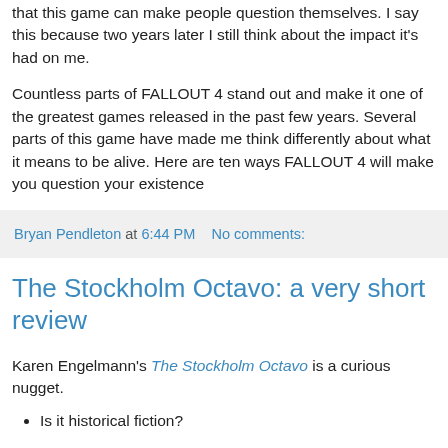that this game can make people question themselves. I say this because two years later I still think about the impact it's had on me.
Countless parts of FALLOUT 4 stand out and make it one of the greatest games released in the past few years. Several parts of this game have made me think differently about what it means to be alive. Here are ten ways FALLOUT 4 will make you question your existence
Bryan Pendleton at 6:44 PM   No comments:
The Stockholm Octavo: a very short review
Karen Engelmann's The Stockholm Octavo is a curious nugget.
Is it historical fiction?